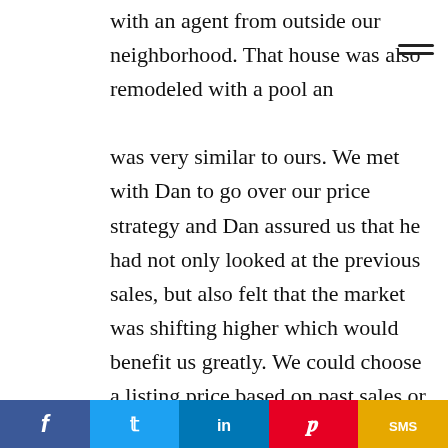with an agent from outside our neighborhood. That house was also remodeled with a pool an was very similar to ours. We met with Dan to go over our price strategy and Dan assured us that he had not only looked at the previous sales, but also felt that the market was shifting higher which would benefit us greatly. We could choose a listing price based on past sales or a list price based on past sales, pending sales and a sense for what the market may do next. Dan helped make sense of these factors and supported our much higher listing price and we are so glad he did because we priced our house $70,000 more than the other house. Guess
f  t  in  p  SMS